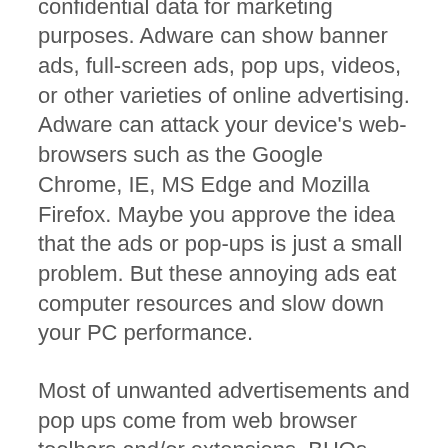advertising web sites and gathers confidential data for marketing purposes. Adware can show banner ads, full-screen ads, pop ups, videos, or other varieties of online advertising. Adware can attack your device's web-browsers such as the Google Chrome, IE, MS Edge and Mozilla Firefox. Maybe you approve the idea that the ads or pop-ups is just a small problem. But these annoying ads eat computer resources and slow down your PC performance.
Most of unwanted advertisements and pop ups come from web browser toolbars and/or extensions, BHOs (browser helper objects) and bundled apps. In most cases, these items claim itself as software that improve your experience on the Internet by providing a fast and interactive home page or a search engine that does not track you. Remember, how to avoid the unwanted applications. Be cautious...